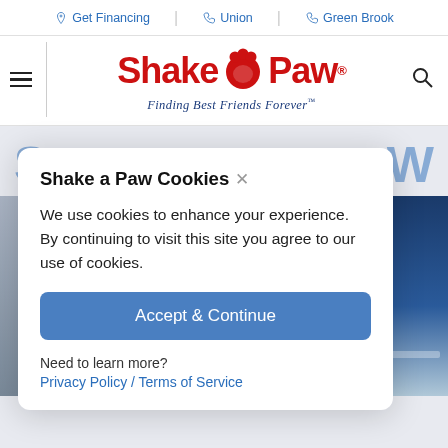Get Financing   Union   Green Brook
[Figure (logo): Shake A Paw logo with paw print icon and tagline 'Finding Best Friends Forever']
Shake a Paw Cookies
We use cookies to enhance your experience. By continuing to visit this site you agree to our use of cookies.
Accept & Continue
Need to learn more?
Privacy Policy / Terms of Service